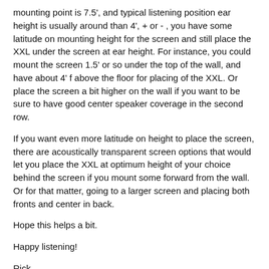mounting point is 7.5', and typical listening position ear height is usually around than 4', + or - , you have some latitude on mounting height for the screen and still place the XXL under the screen at ear height. For instance, you could mount the screen 1.5' or so under the top of the wall, and have about 4' f above the floor for placing of the XXL. Or place the screen a bit higher on the wall if you want to be sure to have good center speaker coverage in the second row.
If you want even more latitude on height to place the screen, there are acoustically transparent screen options that would let you place the XXL at optimum height of your choice behind the screen if you mount some forward from the wall. Or for that matter, going to a larger screen and placing both fronts and center in back.
Hope this helps a bit.
Happy listening!
Rick